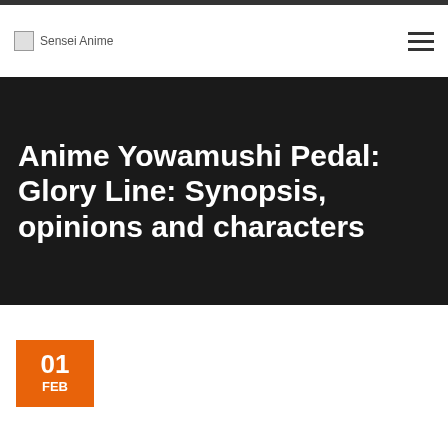Sensei Anime
Anime Yowamushi Pedal: Glory Line: Synopsis, opinions and characters
01 FEB